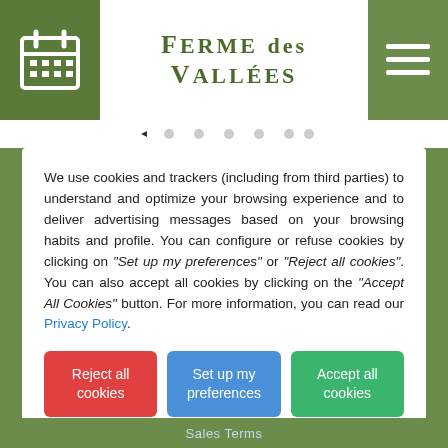[Figure (screenshot): Website header with calendar icon on left green background, 'Ferme des Vallées' logo text in center on white, hamburger menu icon on right green background]
[Figure (other): Navigation dots row showing 7 dots, first one dark (active), rest light gray]
We use cookies and trackers (including from third parties) to understand and optimize your browsing experience and to deliver advertising messages based on your browsing habits and profile. You can configure or refuse cookies by clicking on "Set up my preferences" or "Reject all cookies". You can also accept all cookies by clicking on the "Accept All Cookies" button. For more information, you can read our Privacy Policy.
Reject all cookies
Set up my preferences
Accept all cookies
Sales Terms